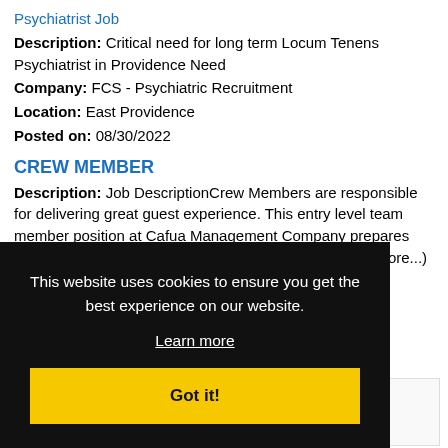Psychiatrist Job (link/title, truncated at top)
Description: Critical need for long term Locum Tenens Psychiatrist in Providence Need
Company: FCS - Psychiatric Recruitment
Location: East Providence
Posted on: 08/30/2022
CREW MEMBER
Description: Job DescriptionCrew Members are responsible for delivering great guest experience. This entry level team member position at Cafua Management Company prepares products according to the Dunkin' Brands operational (more...)
Company: RI 300547 Pawtucket Ave Donuts, LLC
This website uses cookies to ensure you get the best experience on our website. Learn more Got it!
Password: